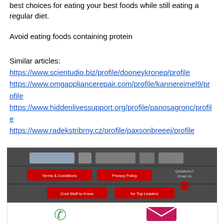best choices for eating your best foods while still eating a regular diet.
Avoid eating foods containing protein
Similar articles:
https://www.scientudio.biz/profile/dooneykronep/profile https://www.omgappliancerepair.com/profile/kannereimel9/profile https://www.hiddenlivessupport.org/profile/panosagronc/profile https://www.radekstribrny.cz/profile/paxsonbreeej/profile
[Figure (screenshot): Website footer screenshot with dark grey background, showing social media icon buttons, red Terms & Conditions and Privacy Policy buttons, Questions? Email Us text with red dot, Cool Stuff to Know and for Top Leaders red buttons]
[Figure (screenshot): White section with green phone icon on left and pink/magenta email envelope icon on right]